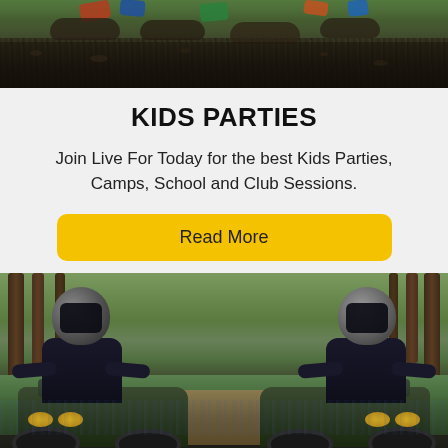[Figure (photo): Top portion of an outdoor scene showing children lying on dark soil/ground with colorful clothing visible]
KIDS PARTIES
Join Live For Today for the best Kids Parties, Camps, School and Club Sessions.
Read More
[Figure (photo): Two riders wearing full-face helmets and dark clothing sitting on quad bikes/ATVs in a woodland setting with bluebells and trees in background]